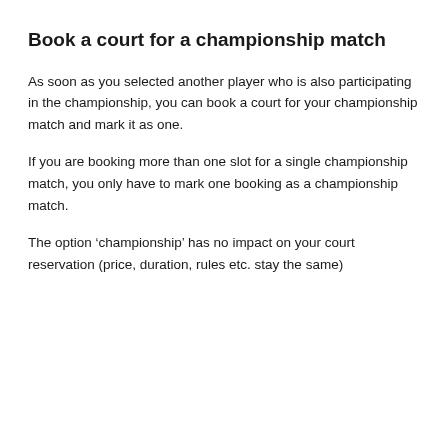Book a court for a championship match
As soon as you selected another player who is also participating in the championship, you can book a court for your championship match and mark it as one.
If you are booking more than one slot for a single championship match, you only have to mark one booking as a championship match.
The option ‘championship’ has no impact on your court reservation (price, duration, rules etc. stay the same)